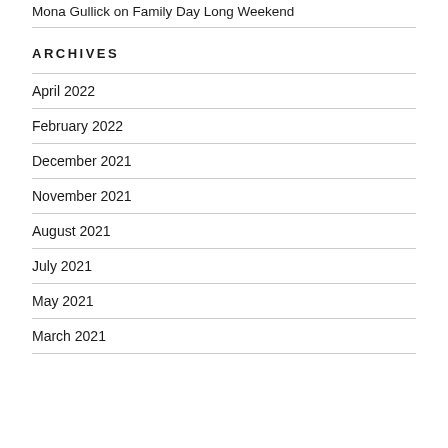Mona Gullick on Family Day Long Weekend
ARCHIVES
April 2022
February 2022
December 2021
November 2021
August 2021
July 2021
May 2021
March 2021